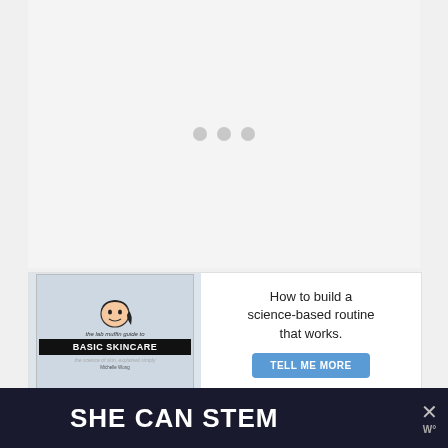[Figure (other): Loading spinner area with three grey dots on a light grey background]
[Figure (other): Advertisement banner for 'The Lab Muffin Guide to Basic Skincare' book with book cover image on left and text 'How to build a science-based routine that works.' with a 'TELL ME MORE' button on right]
[Figure (other): Dark banner advertisement reading 'SHE CAN STEM' with close/X button and logo icon on the right]